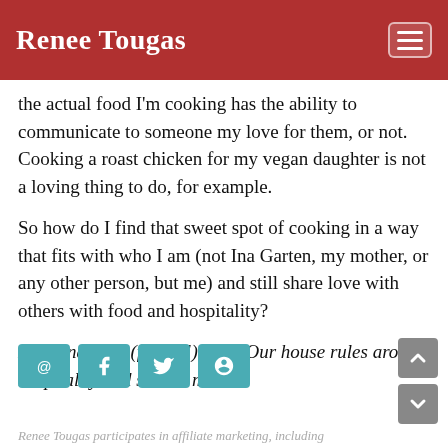Renee Tougas
the actual food I'm cooking has the ability to communicate to someone my love for them, or not. Cooking a roast chicken for my vegan daughter is not a loving thing to do, for example.
So how do I find that sweet spot of cooking in a way that fits with who I am (not Ina Garten, my mother, or any other person, but me) and still share love with others with food and hospitality?
Next and final (finally!) post: Our house rules around hospitality and shared meals
Renee Tougas participates in affiliate marketing, including